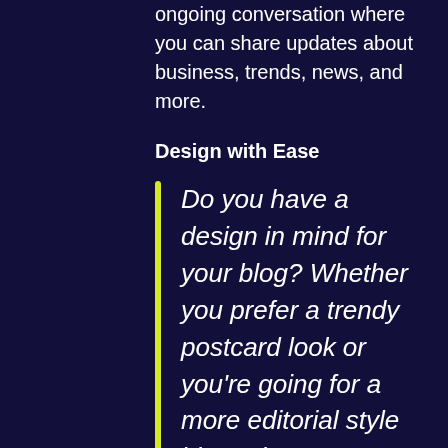ongoing conversation where you can share updates about business, trends, news, and more.
Design with Ease
Do you have a design in mind for your blog? Whether you prefer a trendy postcard look or you're going for a more editorial style blog - there's a stunning layout for everyone.
Every layout comes with the latest social features built in. Readers will be able to easily share posts on social networks like Facebook and Twitter, view how many people have liked a post, made